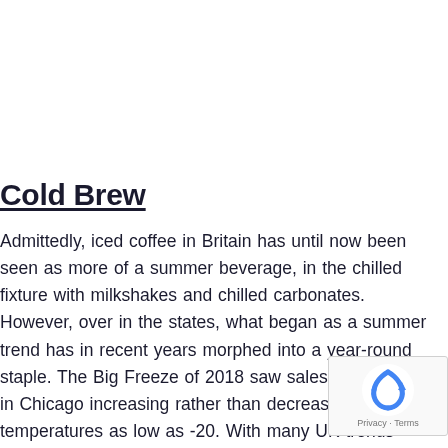Cold Brew
Admittedly, iced coffee in Britain has until now been seen as more of a summer beverage, in the chilled fixture with milkshakes and chilled carbonates. However, over in the states, what began as a summer trend has in recent years morphed into a year-round staple. The Big Freeze of 2018 saw sales of iced coffee in Chicago increasing rather than decreasing, despite temperatures as low as -20. With many UK trends following a similar pattern to the states, it is like the year-round demand for iced coffee could soon cat over here.